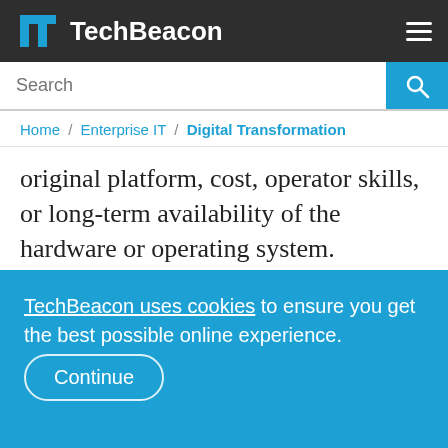TechBeacon
Search
Home / Enterprise IT / Digital Transformation
original platform, cost, operator skills, or long-term availability of the hardware or operating system.
When moving from the mainframe to the cloud, organizations aim to reuse application logic, data
TechBeacon uses cookies to ensure you get the best possible online experience. Continue